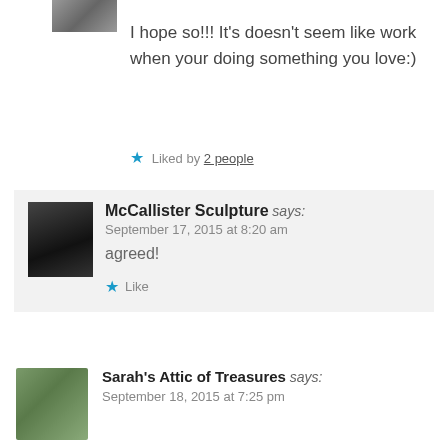[Figure (photo): Small partial avatar image at top left]
I hope so!!! It's doesn't seem like work when your doing something you love:)
Liked by 2 people
[Figure (photo): Black and white photo of McCallister Sculpture avatar]
McCallister Sculpture says: September 17, 2015 at 8:20 am
agreed!
Like
[Figure (photo): Profile photo of Sarah's Attic of Treasures, woman in hat]
Sarah's Attic of Treasures says: September 18, 2015 at 7:25 pm